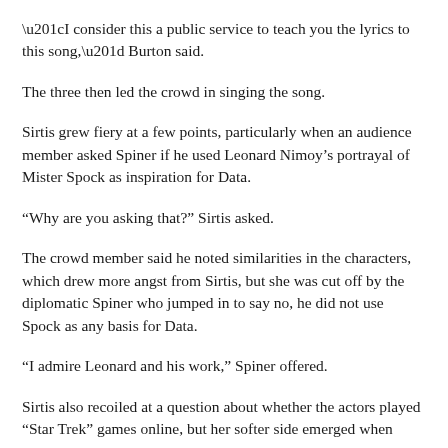“I consider this a public service to teach you the lyrics to this song,” Burton said.
The three then led the crowd in singing the song.
Sirtis grew fiery at a few points, particularly when an audience member asked Spiner if he used Leonard Nimoy’s portrayal of Mister Spock as inspiration for Data.
“Why are you asking that?” Sirtis asked.
The crowd member said he noted similarities in the characters, which drew more angst from Sirtis, but she was cut off by the diplomatic Spiner who jumped in to say no, he did not use Spock as any basis for Data.
“I admire Leonard and his work,” Spiner offered.
Sirtis also recoiled at a question about whether the actors played “Star Trek” games online, but her softer side emerged when